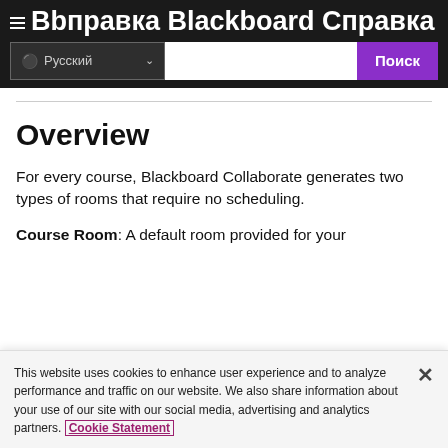Bb правка Blackboard Справка
Overview
For every course, Blackboard Collaborate generates two types of rooms that require no scheduling.
Course Room: A default room provided for your
This website uses cookies to enhance user experience and to analyze performance and traffic on our website. We also share information about your use of our site with our social media, advertising and analytics partners. Cookie Statement